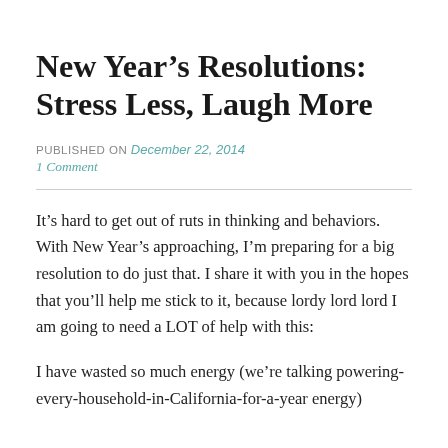New Year's Resolutions: Stress Less, Laugh More
PUBLISHED ON December 22, 2014
1 Comment
It’s hard to get out of ruts in thinking and behaviors. With New Year’s approaching, I’m preparing for a big resolution to do just that. I share it with you in the hopes that you’ll help me stick to it, because lordy lord lord I am going to need a LOT of help with this:
I have wasted so much energy (we’re talking powering-every-household-in-California-for-a-year energy)